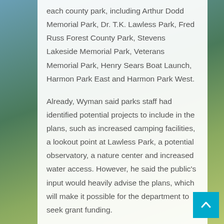each county park, including Arthur Dodd Memorial Park, Dr. T.K. Lawless Park, Fred Russ Forest County Park, Stevens Lakeside Memorial Park, Veterans Memorial Park, Henry Sears Boat Launch, Harmon Park East and Harmon Park West.
Already, Wyman said parks staff had identified potential projects to include in the plans, such as increased camping facilities, a lookout point at Lawless Park, a potential observatory, a nature center and increased water access. However, he said the public's input would heavily advise the plans, which will make it possible for the department to seek grant funding.